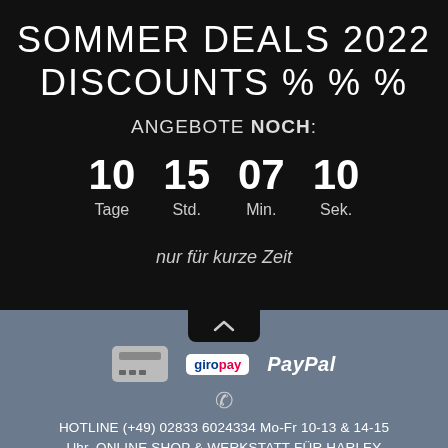SOMMER DEALS 2022
DISCOUNTS % % %
ANGEBOTE NOCH:
10 Tage  15 Std.  07 Min.  10 Sek.
nur für kurze Zeit
[Figure (infographic): Payment method icons: credit card, giropay, PayPal]
HOTLINE (+49) 02833 6024334 Mo-Fr 10-13 & 14-15 Uhr. ONLINE SHOP & WERKSTATT FÜR HARLEY